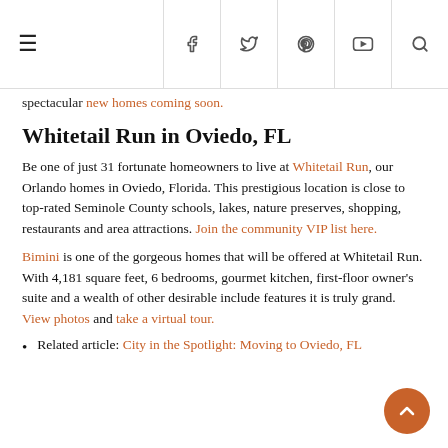Navigation header with hamburger menu and social icons: f, twitter, pinterest, youtube, search
spectacular new homes coming soon.
Whitetail Run in Oviedo, FL
Be one of just 31 fortunate homeowners to live at Whitetail Run, our Orlando homes in Oviedo, Florida. This prestigious location is close to top-rated Seminole County schools, lakes, nature preserves, shopping, restaurants and area attractions. Join the community VIP list here.
Bimini is one of the gorgeous homes that will be offered at Whitetail Run. With 4,181 square feet, 6 bedrooms, gourmet kitchen, first-floor owner's suite and a wealth of other desirable include features it is truly grand. View photos and take a virtual tour.
Related article: City in the Spotlight: Moving to Oviedo, FL